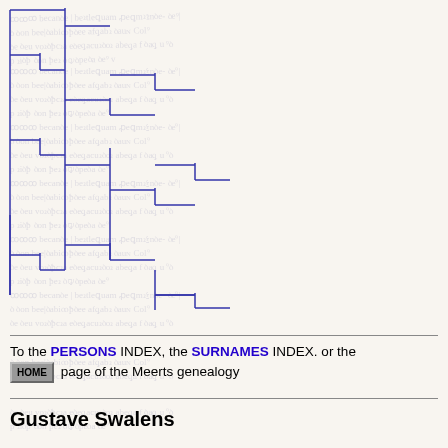[Figure (other): Genealogy tree diagram with blue bracket/line connectors showing family relationships, displayed over a faded historical handwritten document background]
To the PERSONS INDEX, the SURNAMES INDEX. or the HOME page of the Meerts genealogy
Gustave Swalens